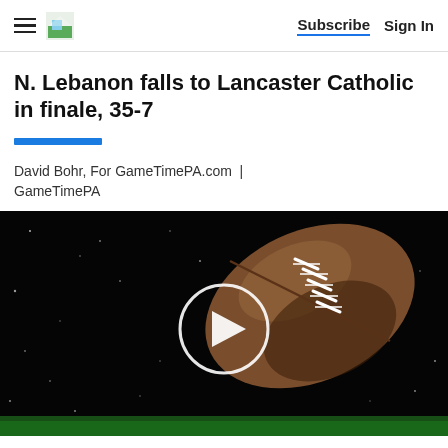Subscribe | Sign In
N. Lebanon falls to Lancaster Catholic in finale, 35-7
David Bohr, For GameTimePA.com | GameTimePA
[Figure (photo): Football on dark background with a circular play button overlay, grass visible at bottom]